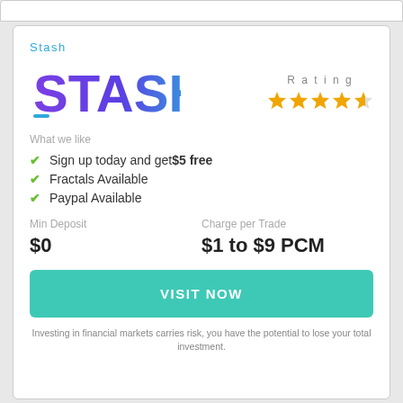Stash
[Figure (logo): Stash logo — large stylized 'STASH' text in gradient purple to teal]
Rating ★★★★½
What we like
Sign up today and get $5 free
Fractals Available
Paypal Available
Min Deposit
$0
Charge per Trade
$1 to $9 PCM
VISIT NOW
Investing in financial markets carries risk, you have the potential to lose your total investment.